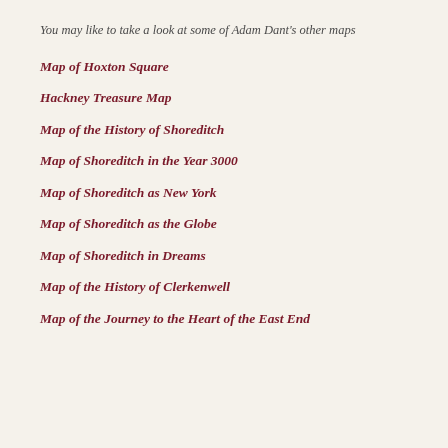You may like to take a look at some of Adam Dant's other maps
Map of Hoxton Square
Hackney Treasure Map
Map of the History of Shoreditch
Map of Shoreditch in the Year 3000
Map of Shoreditch as New York
Map of Shoreditch as the Globe
Map of Shoreditch in Dreams
Map of the History of Clerkenwell
Map of the Journey to the Heart of the East End